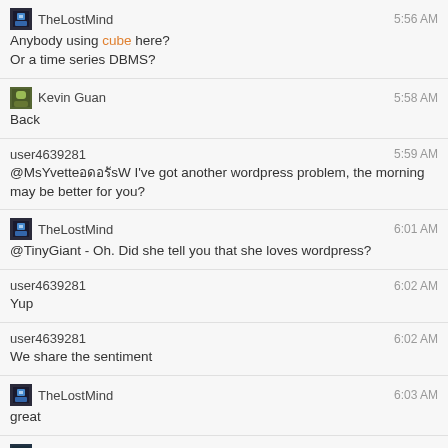TheLostMind  5:56 AM
Anybody using cube here?
Or a time series DBMS?
Kevin Guan  5:58 AM
Back
user4639281  5:59 AM
@MsYvetteอดอรัsW I've got another wordpress problem, the morning may be better for you?
TheLostMind  6:01 AM
@TinyGiant - Oh. Did she tell you that she loves wordpress?
user4639281  6:02 AM
Yup
user4639281  6:02 AM
We share the sentiment
TheLostMind  6:03 AM
great
pp_  6:08 AM
Everyone loves wordpress.
Kevin Guan  6:13 AM
The excerpt one also: stackoverflow.com/review/suggested-edits/11531854